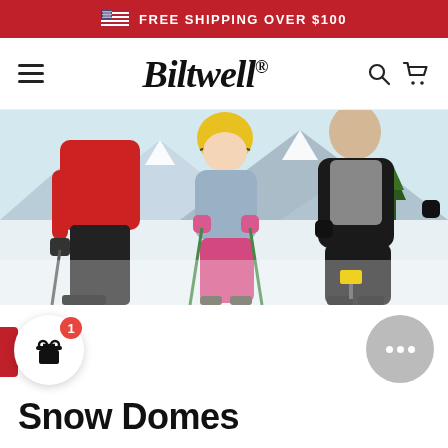FREE SHIPPING OVER $100
[Figure (logo): Biltwell script logo with hamburger menu, search and cart icons]
[Figure (photo): Three skiers on a snowy mountain slope — child in center wearing yellow helmet, pink jacket and pink pants, holding ski poles, flanked by two adults]
Snow Domes